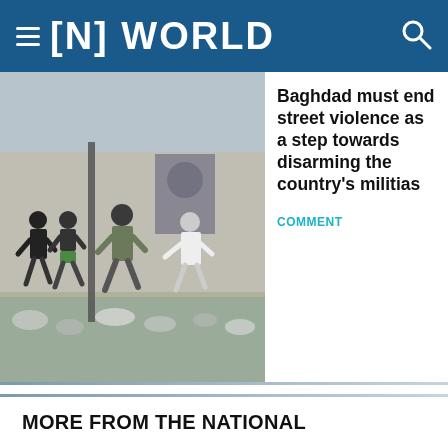[N] WORLD
[Figure (photo): People running on a street amid conflict or protest, with rubble on the ground and a poster visible on a wall in the background]
Baghdad must end street violence as a step towards disarming the country's militias
COMMENT
NEWSLETTERS
Checking In (Thursdays)
MORE FROM THE NATIONAL